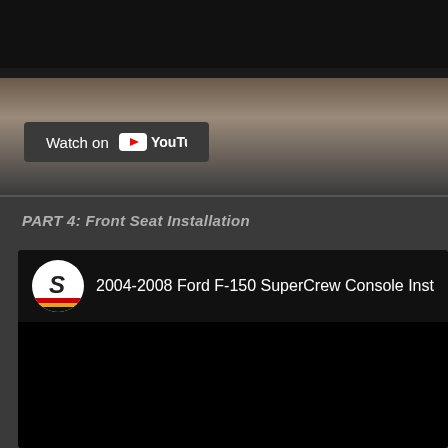[Figure (screenshot): YouTube video embed showing a partially visible video with a dark top bar and beige/tan background. A 'Watch on YouTube' button overlay is visible in the lower-left of the video frame.]
PART 4: Front Seat Installation
[Figure (screenshot): YouTube video embed with black background. Channel logo (LS swap/racing logo with colored stripes) and video title '2004-2008 Ford F-150 SuperCrew Console Inst' visible in the header area.]